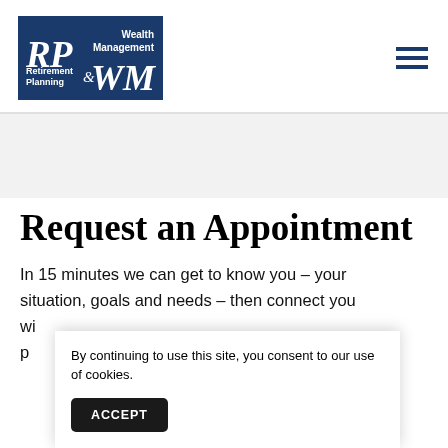[Figure (logo): RP & WM Retirement Planning & Wealth Management logo — dark blue rectangle with white serif italic text 'RP' '&' 'WM', 'Wealth Management' top right, 'Retirement Planning' bottom left]
Request an Appointment
In 15 minutes we can get to know you – your situation, goals and needs – then connect you wi... pu...
By continuing to use this site, you consent to our use of cookies.
ACCEPT